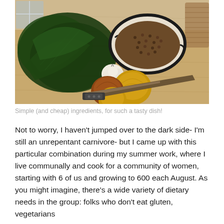[Figure (photo): Photo of simple ingredients on a wooden cutting board: dark leafy greens (collard or kale), garlic, three onions, a bowl of lentils or black-eyed peas with a decorative dark-drizzled rim, and a large chef's knife.]
Simple (and cheap) ingredients, for such a tasty dish!
Not to worry, I haven't jumped over to the dark side- I'm still an unrepentant carnivore- but I came up with this particular combination during my summer work, where I live communally and cook for a community of women, starting with 6 of us and growing to 600 each August. As you might imagine, there's a wide variety of dietary needs in the group: folks who don't eat gluten, vegetarians